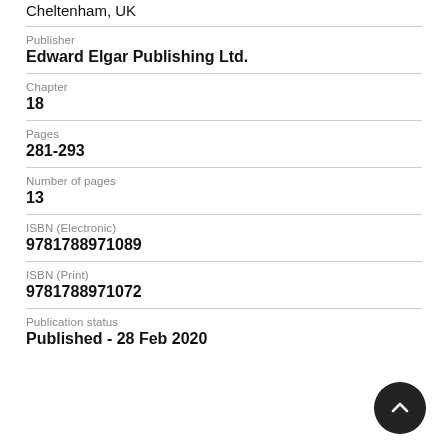Cheltenham, UK
Publisher
Edward Elgar Publishing Ltd.
Chapter
18
Pages
281-293
Number of pages
13
ISBN (Electronic)
9781788971089
ISBN (Print)
9781788971072
Publication status
Published - 28 Feb 2020